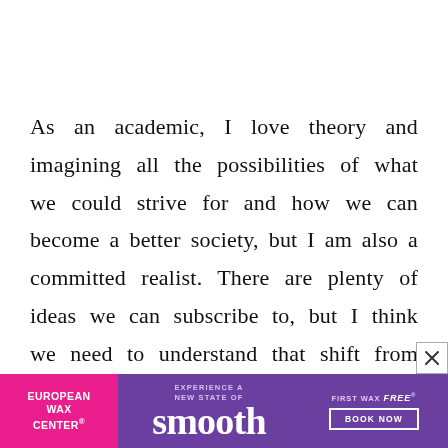As an academic, I love theory and imagining all the possibilities of what we could strive for and how we can become a better society, but I am also a committed realist. There are plenty of ideas we can subscribe to, but I think we need to understand that shift from theory to practice is going to unearth problems we never imagined when we were just ruminating about something. Ideas don't
[Figure (other): Advertisement banner for European Wax Center with pink left panel showing logo, purple center with 'EXPERIENCE A NEW STATE OF smooth' text, and purple right panel showing 'FIRST WAX free BOOK NOW' with a close button]